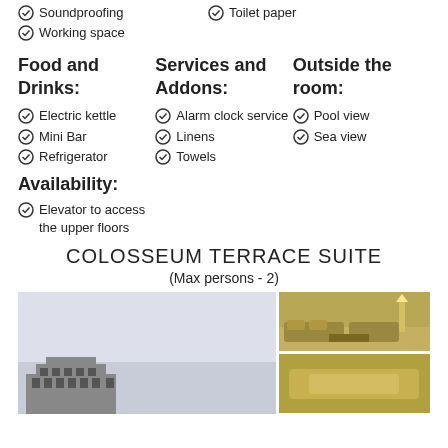Soundproofing
Toilet paper
Working space
Food and Drinks:
Services and Addons:
Outside the room:
Electric kettle
Alarm clock service
Pool view
Mini Bar
Linens
Sea view
Refrigerator
Towels
Availability:
Elevator to access the upper floors
COLOSSEUM TERRACE SUITE
(Max persons - 2)
[Figure (photo): Two hotel room photos: left showing exterior building view, right showing interior lounge seating area with golden/warm tones]